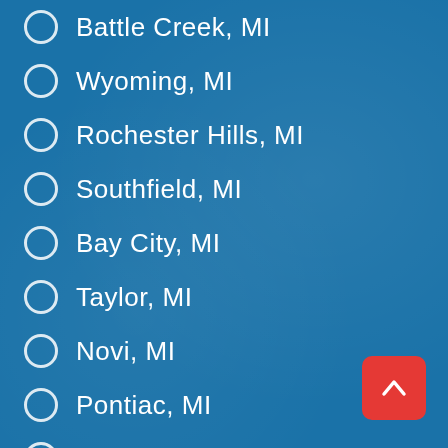Battle Creek, MI
Wyoming, MI
Rochester Hills, MI
Southfield, MI
Bay City, MI
Taylor, MI
Novi, MI
Pontiac, MI
Royal Oak, MI
Benton Harbor, MI
St. Clair Shores, MI